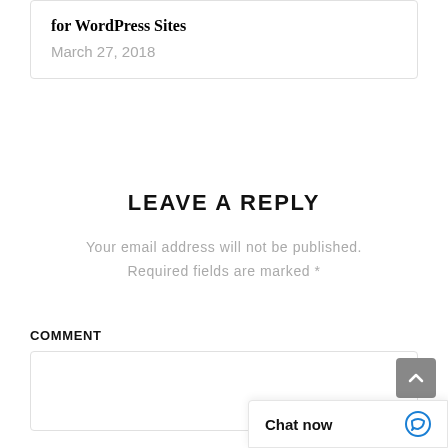for WordPress Sites
March 27, 2018
LEAVE A REPLY
Your email address will not be published. Required fields are marked *
COMMENT
[Figure (screenshot): Comment text input box]
[Figure (screenshot): Chat now widget with speech bubble icon]